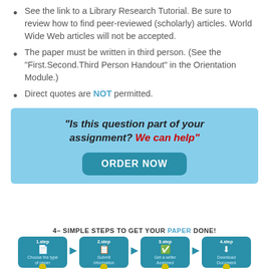See the link to a Library Research Tutorial. Be sure to review how to find peer-reviewed (scholarly) articles. World Wide Web articles will not be accepted.
The paper must be written in third person. (See the “First.Second.Third Person Handout” in the Orientation Module.)
Direct quotes are NOT permitted.
[Figure (infographic): Light blue advertisement box with italic heading 'Is this question part of your assignment? We can help' (We can help in red), and a teal rounded button labeled ORDER NOW]
[Figure (infographic): 4 Simple Steps to Get Your Paper Done banner with 4 blue boxes for steps: 1.step Choose the type of paper, 2.step Submit Information, 3.step Get a writer Assigned, 4.step Download Document, connected by arrows]